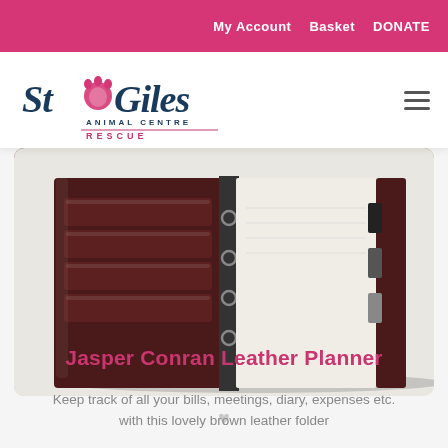My Account  Basket  DONATE
[Figure (logo): St Giles Animal Centre Rescue logo — cursive and serif text with a pink paw print]
[Figure (photo): A brown leather ring-binder planner open on a white surface, showing pockets on the left flap and cream-coloured pages on the right, with black tabbed dividers visible]
Jasper Conran Leather Planner
Keep track of all your bills, meetings, diary, expenses etc. with this lovely brown leather folder